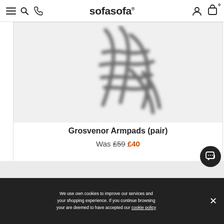sofasofa®
[Figure (photo): Blurry close-up product photo of Grosvenor Armpads (pair) showing armpad detail in grey/white tones]
Grosvenor Armpads (pair)
Was £59 £40
We use own cookies to improve our services and your shopping experience. If you continue browsing your are deemed to have accepted our cookie policy